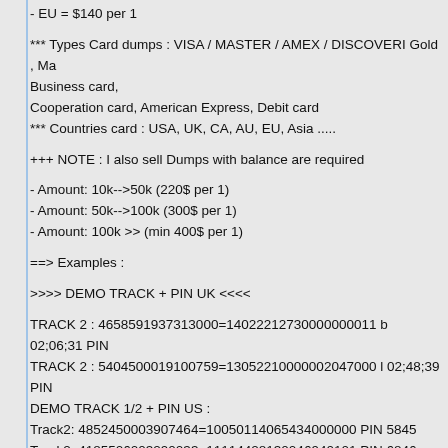- EU = $140 per 1
*** Types Card dumps : VISA / MASTER / AMEX / DISCOVERI Gold , Ma Business card,
Cooperation card, American Express, Debit card
*** Countries card : USA, UK, CA, AU, EU, Asia .....
+++ NOTE : I also sell Dumps with balance are required
- Amount: 10k-->50k (220$ per 1)
- Amount: 50k-->100k (300$ per 1)
- Amount: 100k >> (min 400$ per 1)
==> Examples :
>>>> DEMO TRACK + PIN UK <<<<
TRACK 2 : 4658591937313000=14022212730000000011 b 02;06;31 PIN
TRACK 2 : 5404500019100759=13052210000002047000 l 02;48;39 PIN
DEMO TRACK 1/2 + PIN US :
Track2: 4852450003907464=10050114065434000000 PIN 5845
Track2: 4185506003290033=11114428130046940101 PIN 6846